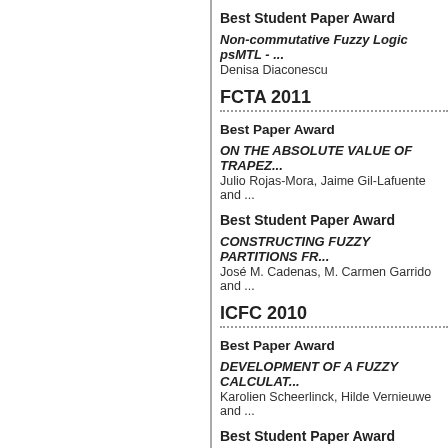Best Student Paper Award
Non-commutative Fuzzy Logic psMTL - ...
Denisa Diaconescu
FCTA 2011
Best Paper Award
ON THE ABSOLUTE VALUE OF TRAPEZ...
Julio Rojas-Mora, Jaime Gil-Lafuente and ...
Best Student Paper Award
CONSTRUCTING FUZZY PARTITIONS FR...
José M. Cadenas, M. Carmen Garrido and ...
ICFC 2010
Best Paper Award
DEVELOPMENT OF A FUZZY CALCULAT...
Karolien Scheerlinck, Hilde Vernieuwe and ...
Best Student Paper Award